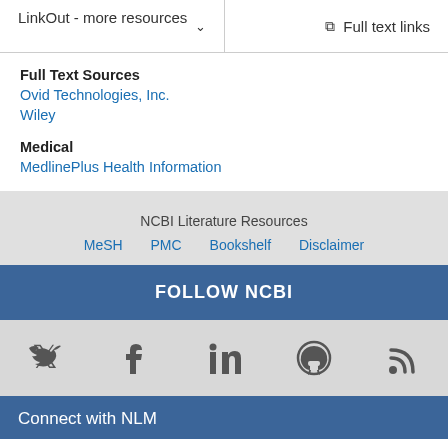LinkOut - more resources   Full text links
Full Text Sources
Ovid Technologies, Inc.
Wiley
Medical
MedlinePlus Health Information
NCBI Literature Resources
MeSH   PMC   Bookshelf   Disclaimer
FOLLOW NCBI
[Figure (illustration): Social media icons: Twitter, Facebook, LinkedIn, GitHub, RSS]
Connect with NLM